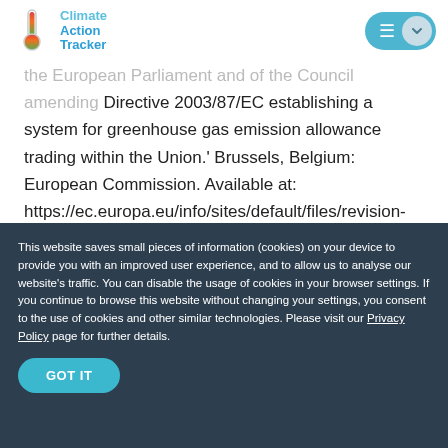Climate Action Tracker
the European Parliament and of the Council amending Directive 2003/87/EC establishing a system for greenhouse gas emission allowance trading within the Union.' Brussels, Belgium: European Commission. Available at: https://ec.europa.eu/info/sites/default/files/revision-eu-ets_with-annex_en_0.pdf.
This website saves small pieces of information (cookies) on your device to provide you with an improved user experience, and to allow us to analyse our website's traffic. You can disable the usage of cookies in your browser settings. If you continue to browse this website without changing your settings, you consent to the use of cookies and other similar technologies. Please visit our Privacy Policy page for further details.